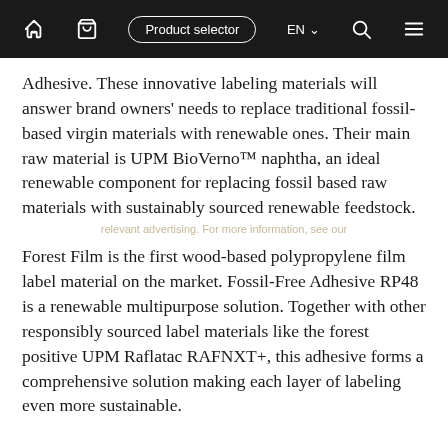Home | Cart | Product selector | EN | Search | Menu
Adhesive. These innovative labeling materials will answer brand owners' needs to replace traditional fossil-based virgin materials with renewable ones. Their main raw material is UPM BioVerno™ naphtha, an ideal renewable component for replacing fossil based raw materials with sustainably sourced renewable feedstock.
Forest Film is the first wood-based polypropylene film label material on the market. Fossil-Free Adhesive RP48 is a renewable multipurpose solution. Together with other responsibly sourced label materials like the forest positive UPM Raflatac RAFNXT+, this adhesive forms a comprehensive solution making each layer of labeling even more sustainable.